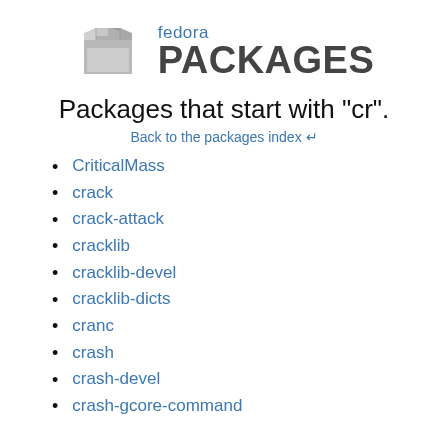[Figure (logo): Fedora Packages logo: a grey open box/folder icon on the left, and text 'fedora PACKAGES' on the right with 'fedora' in blue and 'PACKAGES' in dark grey bold]
Packages that start with "cr".
Back to the packages index ↵
CriticalMass
crack
crack-attack
cracklib
cracklib-devel
cracklib-dicts
cranc
crash
crash-devel
crash-gcore-command